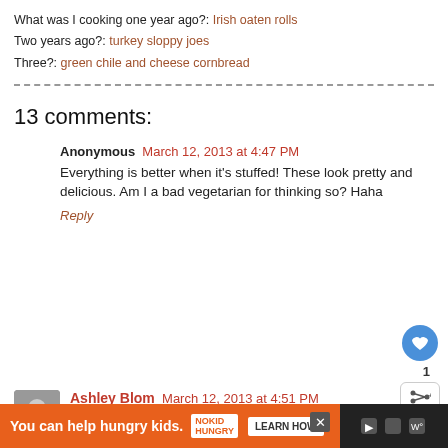What was I cooking one year ago?: Irish oaten rolls
Two years ago?: turkey sloppy joes
Three?: green chile and cheese cornbread
13 comments:
Anonymous March 12, 2013 at 4:47 PM
Everything is better when it's stuffed! These look pretty and delicious. Am I a bad vegetarian for thinking so? Haha
Reply
Ashley Blom March 12, 2013 at 4:51 PM
I will miss summer squash when it is gone. Never thought
[Figure (infographic): Ad bar: You can help hungry kids. No Kid Hungry logo. Learn How button. Close button.]